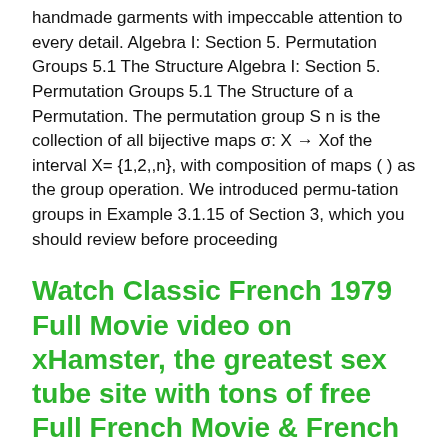handmade garments with impeccable attention to every detail. Algebra I: Section 5. Permutation Groups 5.1 The Structure Algebra I: Section 5. Permutation Groups 5.1 The Structure of a Permutation. The permutation group S n is the collection of all bijective maps σ: X → Xof the interval X= {1,2,,n}, with composition of maps ( ) as the group operation. We introduced permu-tation groups in Example 3.1.15 of Section 3, which you should review before proceeding
Watch Classic French 1979 Full Movie video on xHamster, the greatest sex tube site with tons of free Full French Movie & French Xxx porn movies! Watch Classic French 1979 Full Movie video on xHamster, the greatest sex tube site with tons of free Full French Movie & French Xxx